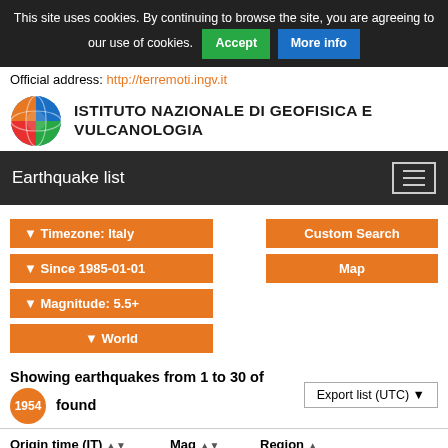This site uses cookies. By continuing to browse the site, you are agreeing to our use of cookies. Accept More info
Official address: http://terremoti.ingv.it
[Figure (logo): INGV globe logo with colorful segments]
ISTITUTO NAZIONALE DI GEOFISICA E VULCANOLOGIA
Earthquake list
▼ Timezone: Italy
▼ Since 1985-01-01
▼ Magnitude: 5.5+
▼ World
Custom Search
Map
Showing earthquakes from 1 to 30 of 1954 found
Export list (UTC) ▼
| Origin time (IT) | Mag | Region |
| --- | --- | --- |